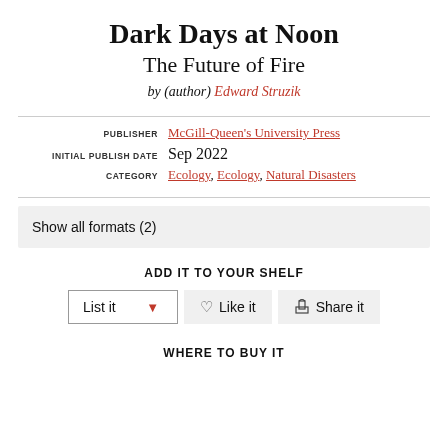Dark Days at Noon
The Future of Fire
by (author) Edward Struzik
PUBLISHER McGill-Queen's University Press
INITIAL PUBLISH DATE Sep 2022
CATEGORY Ecology, Ecology, Natural Disasters
Show all formats (2)
ADD IT TO YOUR SHELF
List it  ▾  ♡ Like it  Share it
WHERE TO BUY IT